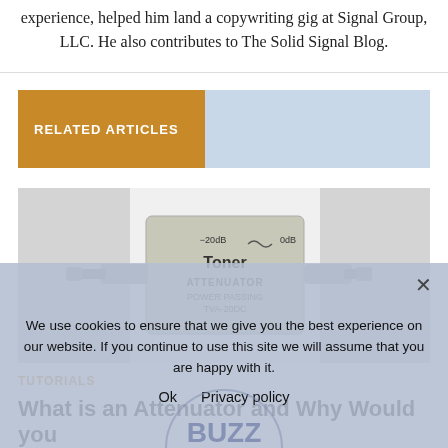experience, helped him land a copywriting gig at Signal Group, LLC. He also contributes to The Solid Signal Blog.
RELATED ARTICLES
[Figure (photo): Photo of a Toner Attenuator device, model TVA-20DC, labeled -20dB and 0dB, white rectangular box with coaxial connectors on each side]
TUTORIALS
What is an Attenuator and Why Would you Need One?
We use cookies to ensure that we give you the best experience on our website. If you continue to use this site we will assume that you are happy with it.
Ok   Privacy policy